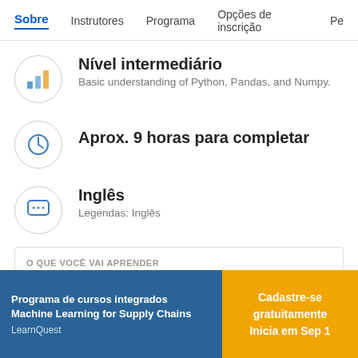Sobre  Instrutores  Programa  Opções de inscrição  Pe
Nível intermediário
Basic understanding of Python, Pandas, and Numpy.
Aprox. 9 horas para completar
Inglês
Legendas: Inglês
O QUE VOCÊ VAI APRENDER
Programa de cursos integrados Machine Learning for Supply Chains
LearnQuest
Cadastre-se gratuitamente
Inicia em Sep 1